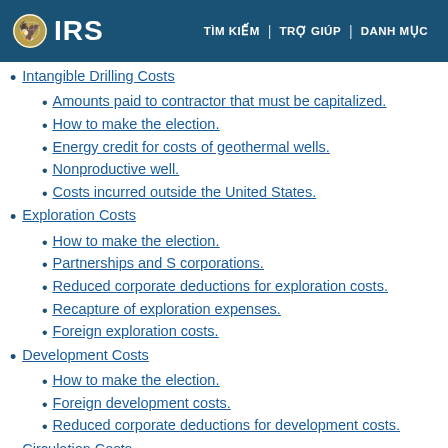IRS | TÌM KIẾM | TRỢ GIÚP | DANH MỤC
Intangible Drilling Costs
Amounts paid to contractor that must be capitalized.
How to make the election.
Energy credit for costs of geothermal wells.
Nonproductive well.
Costs incurred outside the United States.
Exploration Costs
How to make the election.
Partnerships and S corporations.
Reduced corporate deductions for exploration costs.
Recapture of exploration expenses.
Foreign exploration costs.
Development Costs
How to make the election.
Foreign development costs.
Reduced corporate deductions for development costs.
Circulation Costs